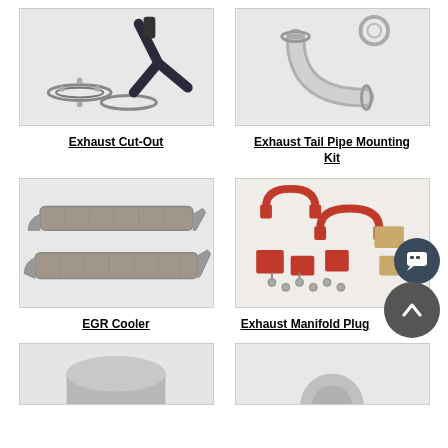[Figure (photo): Exhaust Cut-Out parts including flanges, clamps and pipes on white background]
Exhaust Cut-Out
[Figure (photo): Exhaust Tail Pipe Mounting Kit showing bent pipe and fittings on white background]
Exhaust Tail Pipe Mounting Kit
[Figure (photo): EGR Cooler showing two elongated metal heat exchanger tubes]
EGR Cooler
[Figure (photo): Exhaust Manifold Plug kit showing red clamps, brackets, hardware and gasket pieces]
Exhaust Manifold Plug
[Figure (photo): Partial view of automotive part at bottom left]
[Figure (photo): Partial view of automotive part at bottom right]